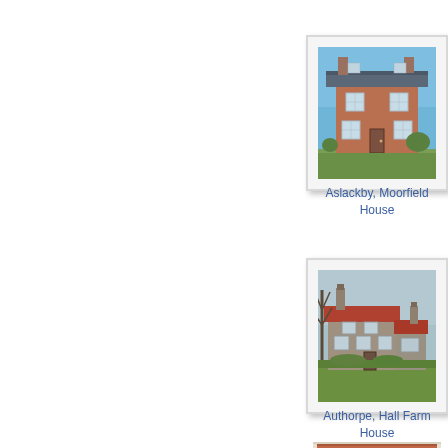[Figure (photo): Photograph of Aslackby, Moorfield House - a brick building with slate roof]
Aslackby, Moorfield House
[Figure (photo): Photograph of Authorpe, Hall Farm House - a stone farmhouse with trees]
Authorpe, Hall Farm House
[Figure (photo): Photograph of a third building - partially visible, cut off at bottom of page]